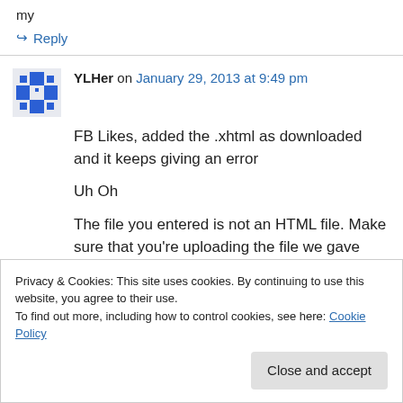my
↪ Reply
YLHer on January 29, 2013 at 9:49 pm
FB Likes, added the .xhtml as downloaded and it keeps giving an error
Uh Oh
The file you entered is not an HTML file. Make sure that you're uploading the file we gave you.
Privacy & Cookies: This site uses cookies. By continuing to use this website, you agree to their use. To find out more, including how to control cookies, see here: Cookie Policy